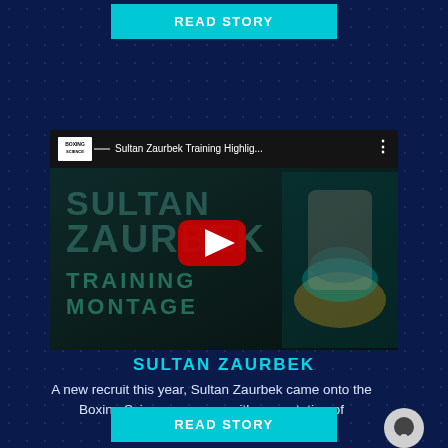READ STORY
[Figure (screenshot): YouTube video thumbnail for 'Sultan Zaurbek Training Highlights' with Boxing Science logo, video title bar, large watermark text reading SULTAN ZAURBEK TRAINING MONTAGE, a red YouTube play button, and a boxer holding championship belts on the right side]
SULTAN ZAURBEK
A new recruit this year, Sultan Zaurbek came onto the Boxing Science program with a reputation of being unforgiving...
READ STORY